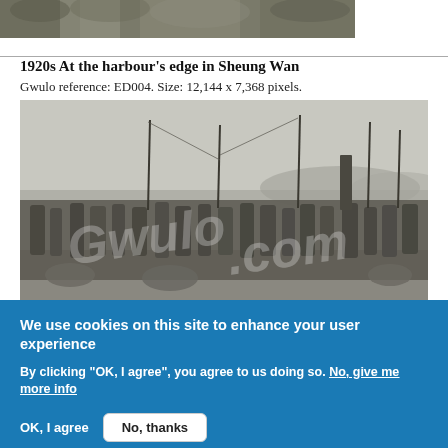[Figure (photo): Black and white historical photo strip showing foliage/trees, partially cropped at top of page]
1920s At the harbour's edge in Sheung Wan
Gwulo reference: ED004. Size: 12,144 x 7,368 pixels.
[Figure (photo): Black and white historical photograph from the 1920s showing people gathered at the harbour's edge in Sheung Wan, Hong Kong. Sailboat masts and a smokestack visible in the background. A 'Gwulo' watermark is overlaid on the image.]
We use cookies on this site to enhance your user experience
By clicking "OK, I agree", you agree to us doing so. No, give me more info
OK, I agree
No, thanks